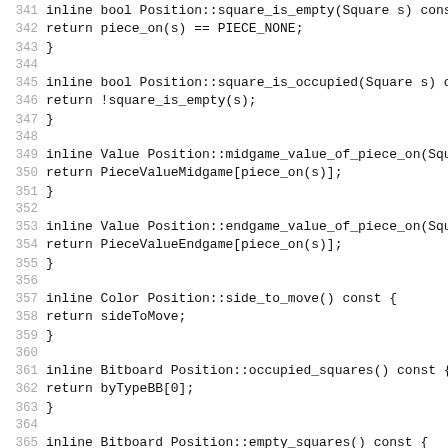Code listing lines 341-372: C++ inline methods for Position class including square_is_empty, square_is_occupied, midgame_value_of_piece_on, endgame_value_of_piece_on, side_to_move, occupied_squares, empty_squares, pieces_of_color